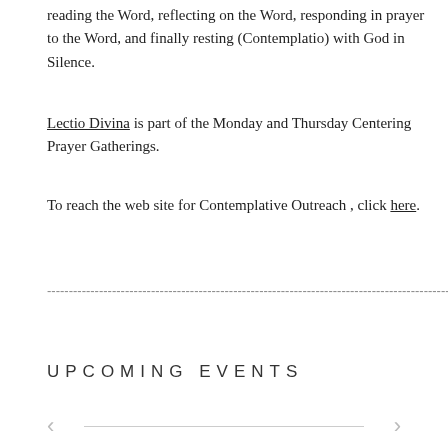reading the Word, reflecting on the Word, responding in prayer to the Word, and finally resting (Contemplatio) with God in Silence.
Lectio Divina is part of the Monday and Thursday Centering Prayer Gatherings.
To reach the web site for Contemplative Outreach , click here.
UPCOMING EVENTS